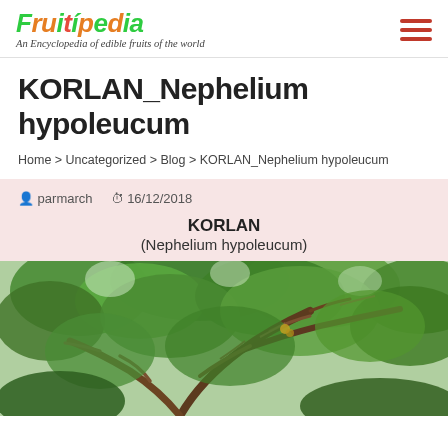Fruitipedia — An Encyclopedia of edible fruits of the world
KORLAN_Nephelium hypoleucum
Home > Uncategorized > Blog > KORLAN_Nephelium hypoleucum
parmarch   16/12/2018
KORLAN
(Nephelium hypoleucum)
[Figure (photo): Photograph of a Korlan (Nephelium hypoleucum) tree with green leafy canopy and brown branches visible]